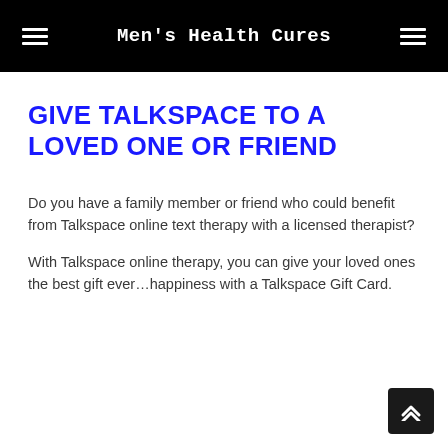Men's Health Cures
GIVE TALKSPACE TO A LOVED ONE OR FRIEND
Do you have a family member or friend who could benefit from Talkspace online text therapy with a licensed therapist?
With Talkspace online therapy, you can give your loved ones the best gift ever…happiness with a Talkspace Gift Card.